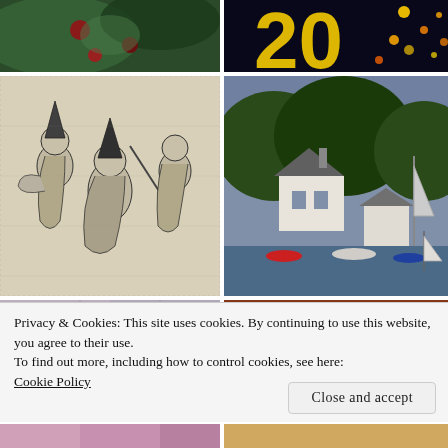[Figure (photo): Dark green foliage with red decorative elements, close-up photo]
[Figure (photo): Dark background with large yellow '20' numbers and bokeh light effects]
[Figure (illustration): Black and white vintage engraving of characters in festive/carnival scene with pointed hats]
[Figure (photo): Waterside village scene with white house, trees, and sailboats on water]
[Figure (photo): Partial view of another photo row at bottom — colorful image on left]
[Figure (photo): Partial view of another photo row at bottom — right side]
Privacy & Cookies: This site uses cookies. By continuing to use this website, you agree to their use.
To find out more, including how to control cookies, see here:
Cookie Policy
Close and accept